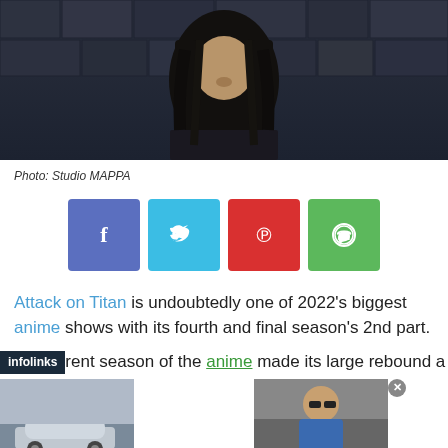[Figure (illustration): Dark anime character with long black hair against a stone wall background - Attack on Titan character]
Photo: Studio MAPPA
[Figure (infographic): Social media share buttons: Facebook (blue), Twitter (light blue), Pinterest (red), WhatsApp (green)]
Attack on Titan is undoubtedly one of 2022's biggest anime shows with its fourth and final season's 2nd part.
The current season of the anime made its large rebound a little